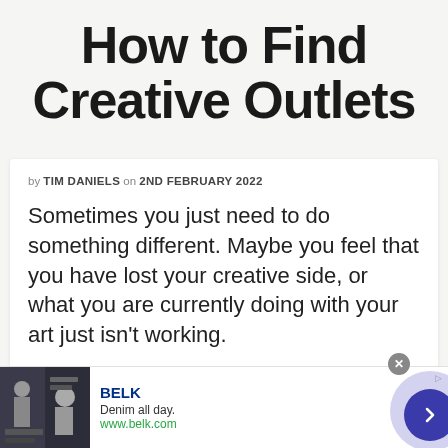How to Find Creative Outlets
by TIM DANIELS on 2ND FEBRUARY 2022
Sometimes you just need to do something different. Maybe you feel that you have lost your creative side, or what you are currently doing with your art just isn't working.
[Figure (infographic): Advertisement banner for BELK (denim brand) with image of woman in jeans, brand name, tagline 'Denim all day.', URL www.belk.com, close button, and navigation arrow button]